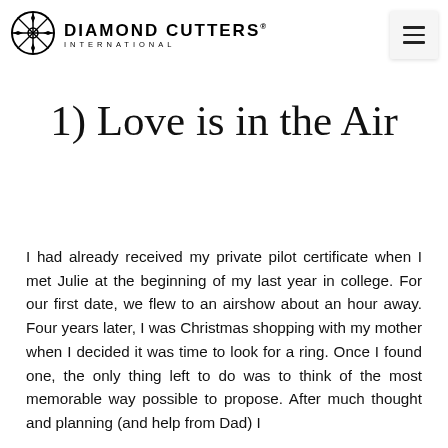Diamond Cutters International
1) Love is in the Air
I had already received my private pilot certificate when I met Julie at the beginning of my last year in college. For our first date, we flew to an airshow about an hour away. Four years later, I was Christmas shopping with my mother when I decided it was time to look for a ring. Once I found one, the only thing left to do was to think of the most memorable way possible to propose. After much thought and planning (and help from Dad) I